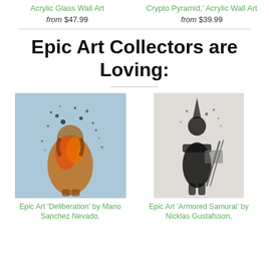Acrylic Glass Wall Art
from $47.99
Crypto Pyramid, Acrylic Wall Art
from $39.99
Epic Art Collectors are Loving:
[Figure (photo): Epic Art 'Deliberation' by Mario Sanchez Nevado – a surreal photo-manipulation of a person with fiery, exploding body and dark particles dispersing from head]
[Figure (photo): Epic Art 'Armored Samurai' by Nicklas Gustafsson – a black and white image of a samurai warrior with particles dispersing from the body]
Epic Art 'Deliberation' by Mario Sanchez Nevado,
Epic Art 'Armored Samurai' by Nicklas Gustafsson,